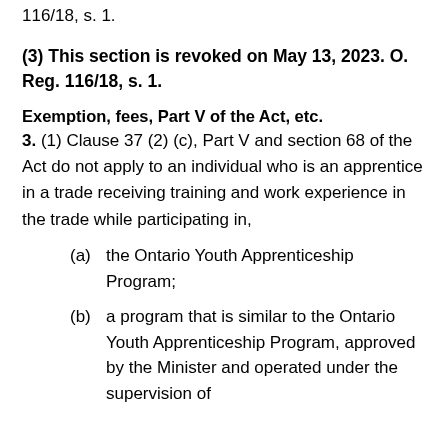116/18, s. 1.
(3) This section is revoked on May 13, 2023. O. Reg. 116/18, s. 1.
Exemption, fees, Part V of the Act, etc.
3. (1) Clause 37 (2) (c), Part V and section 68 of the Act do not apply to an individual who is an apprentice in a trade receiving training and work experience in the trade while participating in,
(a)  the Ontario Youth Apprenticeship Program;
(b)  a program that is similar to the Ontario Youth Apprenticeship Program, approved by the Minister and operated under the supervision of